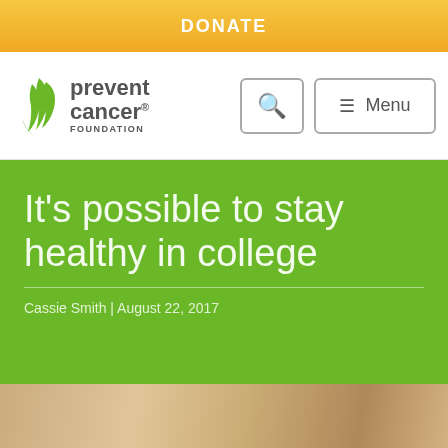DONATE
[Figure (logo): Prevent Cancer Foundation logo with green flame/ribbon icon and text 'prevent cancer FOUNDATION']
It's possible to stay healthy in college
Cassie Smith | August 22, 2017
[Figure (photo): Partial view of a photo showing a bright interior, likely a college or cafeteria setting with warm wood tones]